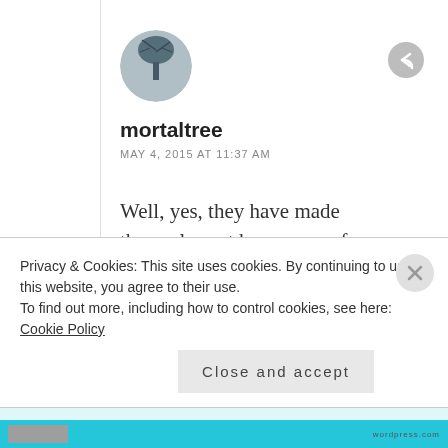[Figure (photo): Circular avatar photo of a tree in winter/bare branches against grey sky, used as user profile picture for mortaltree]
mortaltree
MAY 4, 2015 AT 11:37 AM
Well, yes, they have made themselves at home away from home. All the more reason to subject them to heavy pruning and harvest the delicious fruit so the birds can't spread them around. The seeds actually contain a lot of the berries total nutrients
Privacy & Cookies: This site uses cookies. By continuing to use this website, you agree to their use.
To find out more, including how to control cookies, see here: Cookie Policy
Close and accept